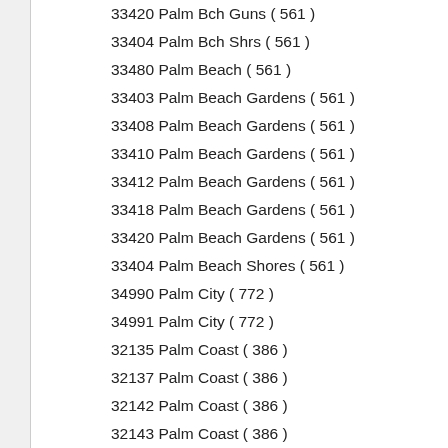33420 Palm Bch Guns ( 561 )
33404 Palm Bch Shrs ( 561 )
33480 Palm Beach ( 561 )
33403 Palm Beach Gardens ( 561 )
33408 Palm Beach Gardens ( 561 )
33410 Palm Beach Gardens ( 561 )
33412 Palm Beach Gardens ( 561 )
33418 Palm Beach Gardens ( 561 )
33420 Palm Beach Gardens ( 561 )
33404 Palm Beach Shores ( 561 )
34990 Palm City ( 772 )
34991 Palm City ( 772 )
32135 Palm Coast ( 386 )
32137 Palm Coast ( 386 )
32142 Palm Coast ( 386 )
32143 Palm Coast ( 386 )
32164 Palm Coast ( 386 )
34682 Palm Harbor ( 727 )
34683 Palm Harbor ( 727 )
34684 Palm Harbor ( 727 )
34685 Palm Harbor ( 727 )
32940 Palm Shores ( 321 )
33406 Palm Springs ( 561 )
33461 Palm Springs ( 561 )
33015 Palm Springs North ( 305/786 )
33629 Palma Ceia ( 813 )
33690 Palma Ceia ( 813 )